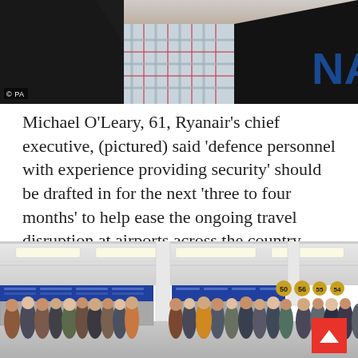[Figure (photo): Close-up photo of a man in a dark jacket and plaid shirt, with a blue 'NA' logo/text visible in the upper right background. Photo credit: PA]
Michael O'Leary, 61, Ryanair's chief executive, (pictured) said 'defence personnel with experience providing security' should be drafted in for the next 'three to four months' to help ease the ongoing travel disruption at airports across the country
[Figure (photo): Wide-angle interior photo of a busy airport terminal with crowds of people queuing at check-in desks, overhead fluorescent lighting, white columns, and departure information screens showing gate numbers.]